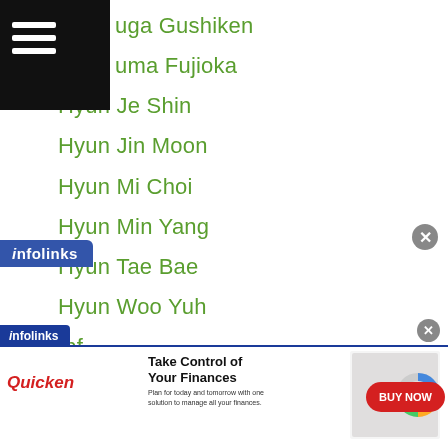uga Gushiken
uma Fujioka
Hyun Je Shin
Hyun Jin Moon
Hyun Mi Choi
Hyun Min Yang
Hyun Tae Bae
Hyun Woo Yuh
Ibf
IBF Eliminator
IBF Silk Road
Ibf Weigh In
Ibo
Ibragim Iskandarov
Ichitaro Ishii
[Figure (infographic): Infolinks ad banner for Quicken: Take Control of Your Finances. Shows Quicken logo in red italic, headline text, small product screenshot with donut chart, and a red BUY NOW button. Close X button top right.]